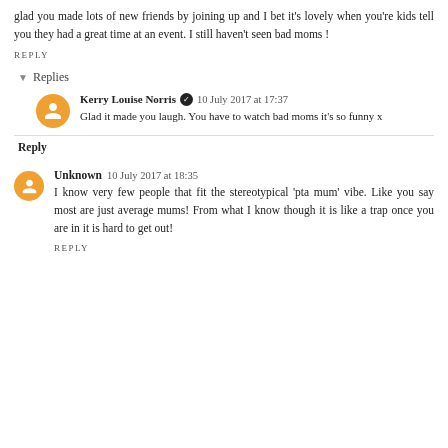glad you made lots of new friends by joining up and I bet it's lovely when you're kids tell you they had a great time at an event. I still haven't seen bad moms !
REPLY
Replies
Kerry Louise Norris  10 July 2017 at 17:37
Glad it made you laugh. You have to watch bad moms it's so funny x
Reply
Unknown  10 July 2017 at 18:35
I know very few people that fit the stereotypical 'pta mum' vibe. Like you say most are just average mums! From what I know though it is like a trap once you are in it is hard to get out!
REPLY